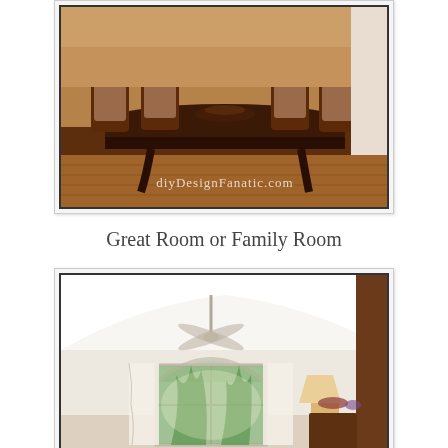[Figure (photo): Dining room with dark wood table, ornate chairs with upholstered seats, hardwood floors, and watermark text 'diyDesignFanatic.com' at the bottom.]
Great Room or Family Room
[Figure (photo): Bright great room or family room with high white ceiling, arched window with natural light and trees visible outside, white curtains, ceiling fan, and furniture in the background.]